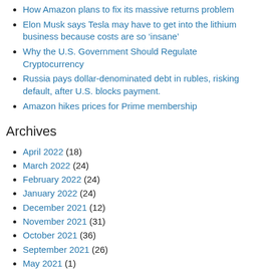How Amazon plans to fix its massive returns problem
Elon Musk says Tesla may have to get into the lithium business because costs are so 'insane'
Why the U.S. Government Should Regulate Cryptocurrency
Russia pays dollar-denominated debt in rubles, risking default, after U.S. blocks payment.
Amazon hikes prices for Prime membership
Archives
April 2022 (18)
March 2022 (24)
February 2022 (24)
January 2022 (24)
December 2021 (12)
November 2021 (31)
October 2021 (36)
September 2021 (26)
May 2021 (1)
April 2021 (12)
March 2021 (24)
February 2021 (24)
January 2021 (30)